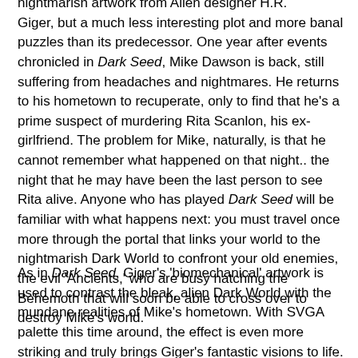nightmarish artwork from Alien designer H.R. Giger, but a much less interesting plot and more banal puzzles than its predecessor. One year after events chronicled in Dark Seed, Mike Dawson is back, still suffering from headaches and nightmares. He returns to his hometown to recuperate, only to find that he's a prime suspect of murdering Rita Scanlon, his ex-girlfriend. The problem for Mike, naturally, is that he cannot remember what happened on that night.. the night that he may have been the last person to see Rita alive. Anyone who has played Dark Seed will be familiar with what happens next: you must travel once more through the portal that links your world to the nightmarish Dark World to confront your old enemies, the evil 'Ancients,' who are busy hatching the Behemoth that will soon be able to cross over to destroy Mike's world.
As in Dark Seed, Giger's 'biomechanical' artwork is used to contrast the bleak, alien Dark World with the mundane realities of Mike's hometown. With SVGA palette this time around, the effect is even more striking and truly brings Giger's fantastic visions to life. Unfortunately, they are used merely as static background pictures